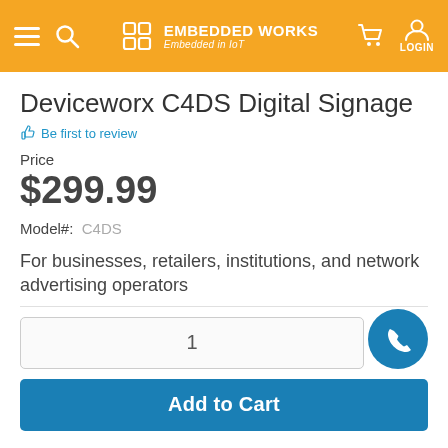EMBEDDED WORKS — Embedded in IoT
Deviceworx C4DS Digital Signage
Be first to review
Price
$299.99
Model#: C4DS
For businesses, retailers, institutions, and network advertising operators
1
Add to Cart